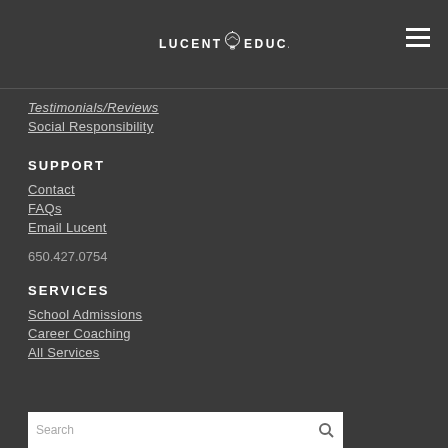LUCENT EDUCATION
Testimonials/Reviews
Social Responsibility
SUPPORT
Contact
FAQs
Email Lucent
650.427.0754
SERVICES
School Admissions
Career Coaching
All Services